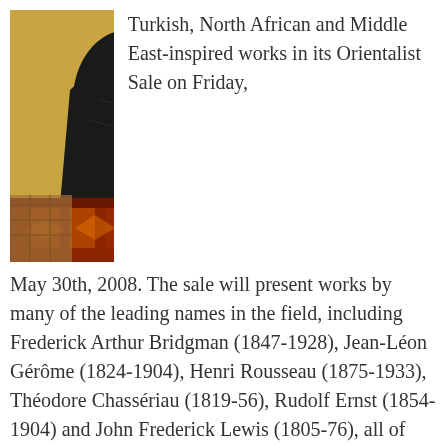[Figure (photo): A painting showing a woman in a dark dress seated on or near richly patterned Middle Eastern/Oriental rugs with a golden fabric background. The figure is shown from behind/side, wearing an ornate black dress with detailed embroidery.]
Turkish, North African and Middle East-inspired works in its Orientalist Sale on Friday, May 30th, 2008. The sale will present works by many of the leading names in the field, including Frederick Arthur Bridgman (1847-1928), Jean-Léon Gérôme (1824-1904), Henri Rousseau (1875-1933), Théodore Chassériau (1819-56), Rudolf Ernst (1854-1904) and John Frederick Lewis (1805-76), all of whom were inspired by the beauty and romance of the the